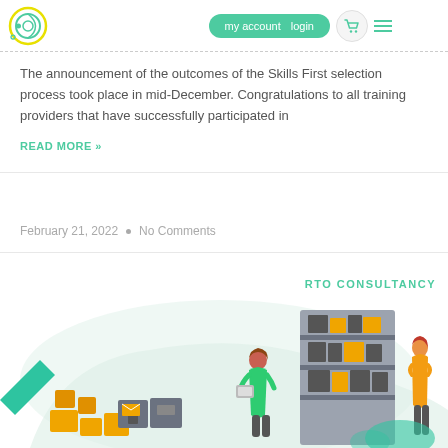my account  login
The announcement of the outcomes of the Skills First selection process took place in mid-December. Congratulations to all training providers that have successfully participated in
READ MORE »
February 21, 2022 • No Comments
[Figure (illustration): RTO Consultancy illustration showing two women with packages and shelving units, with a light green blob background shape.]
RTO CONSULTANCY